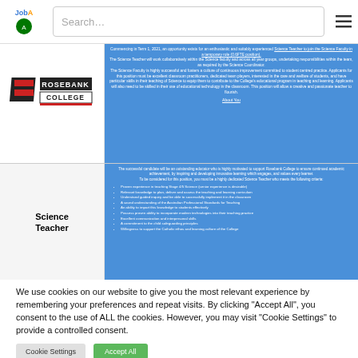JobA... | Search...
[Figure (logo): Rosebank College logo with stylized geometric shapes and red stripe]
Commencing in Term 1, 2021, an opportunity exists for an enthusiastic and suitably experienced Science Teacher to join the Science Faculty in a temporary role (0.6FTE position). The Science Teacher will work collaboratively within the Science faculty and across all year groups, undertaking responsibilities within the team, as required by the Science Coordinator. The Science Faculty is highly successful and fosters a culture of continuous improvement committed to student centred practice. Applicants for this position must be excellent classroom practitioners, dedicated team players, interested in the care and welfare of students, and have particular skills in their teaching of Science to equip them to contribute to the College's educational program in teaching and learning. Applicants will also need to be skilled in their use of educational technology in the classroom. This position will allow a creative and passionate teacher to flourish. About You The successful candidate will be an outstanding educator who is highly motivated to support Rosebank College to ensure continued academic achievement, by inspiring and developing innovative learning which engages, and values every learner. To be considered for this position, you must be a highly dedicated Science Teacher who meets the following criteria:
Science Teacher
Proven experience in teaching Stage 4/5 Science (senior experience is desirable)
Relevant knowledge to plan, deliver and assess the teaching and learning curriculum
Understand guided inquiry and be able to successfully implement it in the classroom
A sound understanding of the Australian Professional Standards for Teaching
An ability to impart this knowledge to students effectively
Possess proven ability to incorporate modern technologies into their teaching practice
Excellent communication and interpersonal skills
A commitment to the child safeguarding principles
Willingness to support the Catholic ethos and learning culture of the College
We use cookies on our website to give you the most relevant experience by remembering your preferences and repeat visits. By clicking "Accept All", you consent to the use of ALL the cookies. However, you may visit "Cookie Settings" to provide a controlled consent.